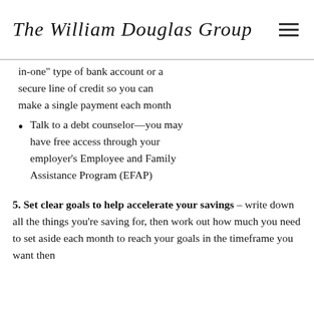The William Douglas Group
in-one" type of bank account or a secure line of credit so you can make a single payment each month
Talk to a debt counselor—you may have free access through your employer's Employee and Family Assistance Program (EFAP)
5. Set clear goals to help accelerate your savings – write down all the things you're saving for, then work out how much you need to set aside each month to reach your goals in the timeframe you want then